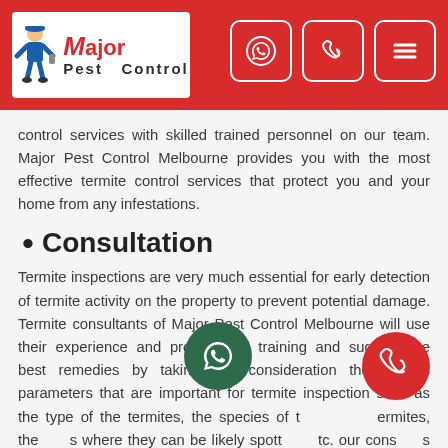Major Pest Control
control services with skilled trained personnel on our team. Major Pest Control Melbourne provides you with the most effective termite control services that protect you and your home from any infestations.
• Consultation
Termite inspections are very much essential for early detection of termite activity on the property to prevent potential damage. Termite consultants of Major Pest Control Melbourne will use their experience and professional training and suggest the best remedies by taking into consideration the various parameters that are important for termite inspection such as the type of the termites, the species of termites, the places where they can be likely spotted, etc. our consultants make use of local knowledge and the latest